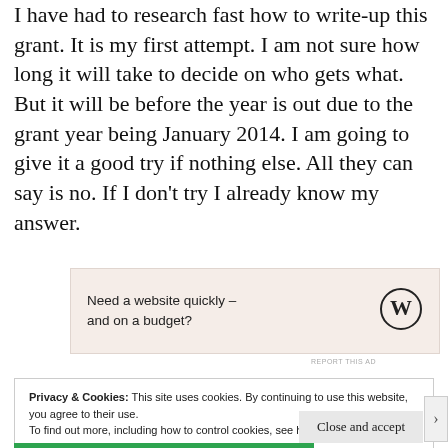I have had to research fast how to write-up this grant. It is my first attempt. I am not sure how long it will take to decide on who gets what. But it will be before the year is out due to the grant year being January 2014. I am going to give it a good try if nothing else. All they can say is no. If I don't try I already know my answer.
[Figure (other): WordPress advertisement banner with text 'Need a website quickly – and on a budget?' and WordPress logo on beige/pink background]
Privacy & Cookies: This site uses cookies. By continuing to use this website, you agree to their use.
To find out more, including how to control cookies, see here: Cookie Policy
Close and accept